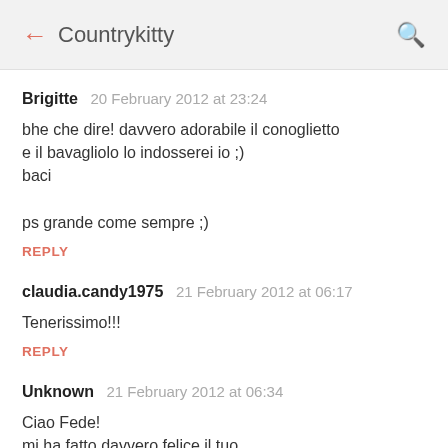← Countrykitty 🔍
Brigitte  20 February 2012 at 23:24

bhe che dire! davvero adorabile il conoglietto e il bavagliolo lo indosserei io ;)
baci

ps grande come sempre ;)

REPLY
claudia.candy1975  21 February 2012 at 06:17

Tenerissimo!!!

REPLY
Unknown  21 February 2012 at 06:34

Ciao Fede!
mi ha fatto davvero felice il tuo commento,posso assicurarti che non me lo aspettavo proprio!